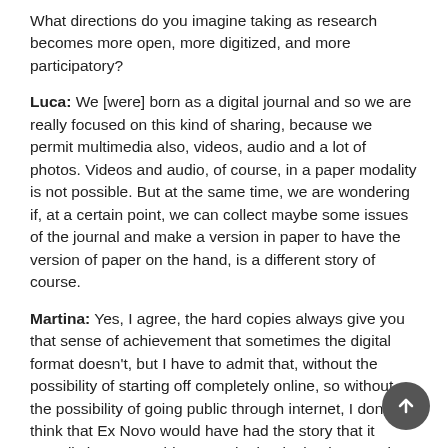What directions do you imagine taking as research becomes more open, more digitized, and more participatory?
Luca: We [were] born as a digital journal and so we are really focused on this kind of sharing, because we permit multimedia also, videos, audio and a lot of photos. Videos and audio, of course, in a paper modality is not possible. But at the same time, we are wondering if, at a certain point, we can collect maybe some issues of the journal and make a version in paper to have the version of paper on the hand, is a different story of course.
Martina: Yes, I agree, the hard copies always give you that sense of achievement that sometimes the digital format doesn't, but I have to admit that, without the possibility of starting off completely online, so without the possibility of going public through internet, I don't think that Ex Novo would have had the story that it actually has. As I told you, at the beginning in 2005, it was supposed to be a traditional paper [print] journal. And you saw how that went for Ex Novo in 2005, 2006. We simply waited and put it on hold. So the options we have now being all born digital, or at least probably Luca - I'm less of a native digital - the possibilities that the